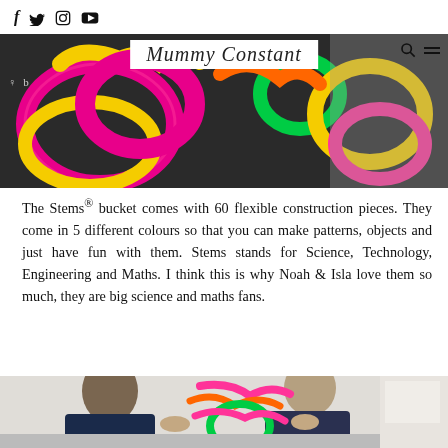f  twitter  instagram  youtube | Mummy Constant
[Figure (photo): Close-up photo of colorful neon flexible construction pieces (Stems) connected together — pink, yellow, green, orange shapes on a dark background]
The Stems® bucket comes with 60 flexible construction pieces. They come in 5 different colours so that you can make patterns, objects and just have fun with them. Stems stands for Science, Technology, Engineering and Maths. I think this is why Noah & Isla love them so much, they are big science and maths fans.
[Figure (photo): Two children (Noah and Isla) playing with colorful neon Stems construction pieces at a table — building shapes with pink, orange and green flexible pieces]